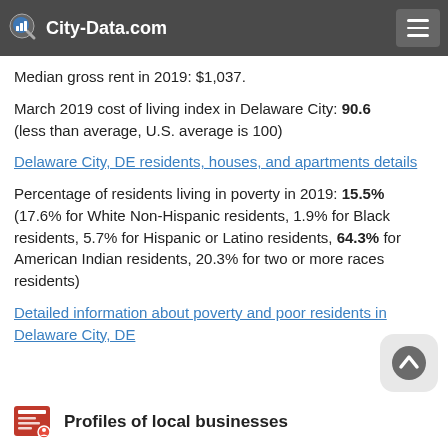City-Data.com
units: $185,863; mobile homes: $27,579
Median gross rent in 2019: $1,037.
March 2019 cost of living index in Delaware City: 90.6 (less than average, U.S. average is 100)
Delaware City, DE residents, houses, and apartments details
Percentage of residents living in poverty in 2019: 15.5% (17.6% for White Non-Hispanic residents, 1.9% for Black residents, 5.7% for Hispanic or Latino residents, 64.3% for American Indian residents, 20.3% for two or more races residents)
Detailed information about poverty and poor residents in Delaware City, DE
Profiles of local businesses